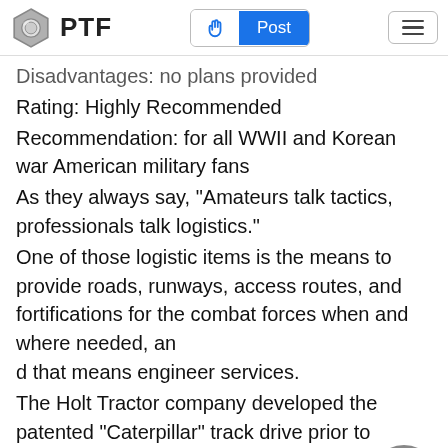PTF | Post
Disadvantages: no plans provided
Rating: Highly Recommended
Recommendation: for all WWII and Korean war American military fans
As they always say, "Amateurs talk tactics, professionals talk logistics."
One of those logistic items is the means to provide roads, runways, access routes, and fortifications for the combat forces when and where needed, an d that means engineer services.
The Holt Tractor company developed the patented "Caterpillar" track drive prior to WWI, and its was used for many things such as "Little Willie", the